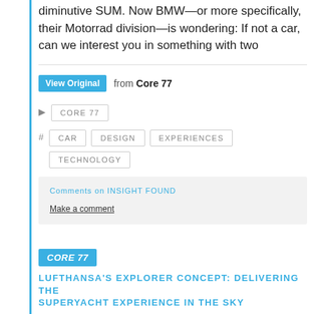diminutive SUM. Now BMW—or more specifically, their Motorrad division—is wondering: If not a car, can we interest you in something with two
View Original from Core 77
CORE 77
CAR   DESIGN   EXPERIENCES   TECHNOLOGY
Comments on INSIGHT FOUND
Make a comment
CORE 77
LUFTHANSA'S EXPLORER CONCEPT: DELIVERING THE SUPERYACHT EXPERIENCE IN THE SKY